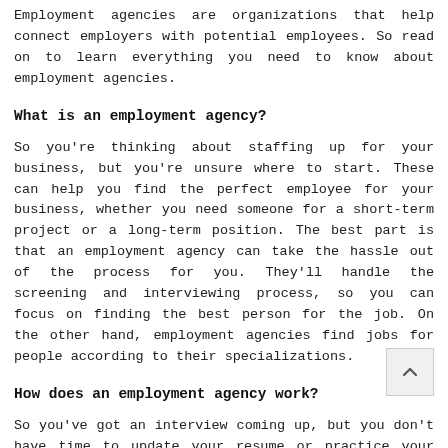Employment agencies are organizations that help connect employers with potential employees. So read on to learn everything you need to know about employment agencies.
What is an employment agency?
So you're thinking about staffing up for your business, but you're unsure where to start. These can help you find the perfect employee for your business, whether you need someone for a short-term project or a long-term position. The best part is that an employment agency can take the hassle out of the process for you. They'll handle the screening and interviewing process, so you can focus on finding the best person for the job. On the other hand, employment agencies find jobs for people according to their specializations.
How does an employment agency work?
So you've got an interview coming up, but you don't have time to update your resume or practice your interviewing